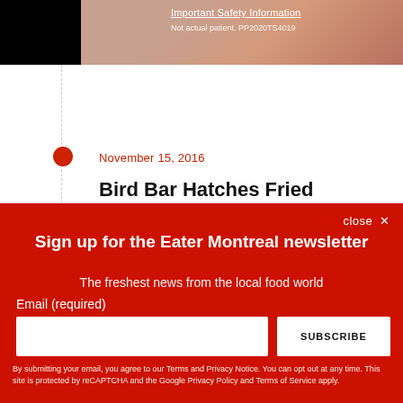[Figure (screenshot): Partial screenshot of a medical advertisement with skin image, text 'Important Safety Information' and 'Not actual patient. PP2020TS4019']
November 15, 2016
Bird Bar Hatches Fried Chicken Doused in Champagne in Griffintown
By Tim Forster | @timothyjforster
Sign up for the Eater Montreal newsletter
The freshest news from the local food world
Email (required)
SUBSCRIBE
By submitting your email, you agree to our Terms and Privacy Notice. You can opt out at any time. This site is protected by reCAPTCHA and the Google Privacy Policy and Terms of Service apply.